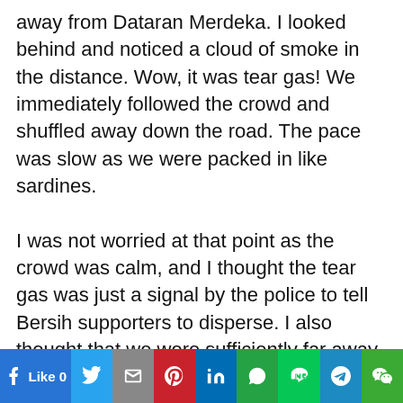away from Dataran Merdeka. I looked behind and noticed a cloud of smoke in the distance. Wow, it was tear gas! We immediately followed the crowd and shuffled away down the road. The pace was slow as we were packed in like sardines.
I was not worried at that point as the crowd was calm, and I thought the tear gas was just a signal by the police to tell Bersih supporters to disperse. I also thought that we were sufficiently far away to not feel the effects of the tear gas. However, I was proven wrong as in rapid succession, round after round of tear gas was fired in our direction.
Like 0 | Twitter | Gmail | Pinterest | LinkedIn | WhatsApp | Line | Telegram | WeChat